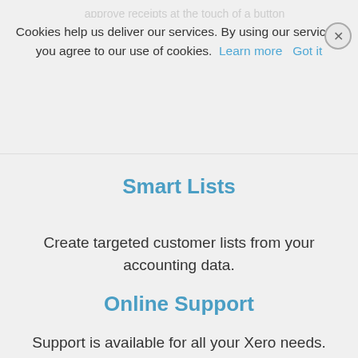approve receipts at the touch of a button
Cookies help us deliver our services. By using our services, you agree to our use of cookies. Learn more  Got it
Smart Lists
Create targeted customer lists from your accounting data.
Online Support
Support is available for all your Xero needs.